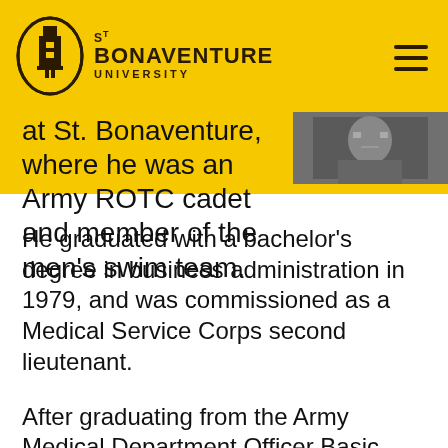St Bonaventure University
[Figure (photo): Black and white photograph of a person, partially visible in upper right corner]
at St. Bonaventure, where he was an Army ROTC cadet and member of the men’s swim team.
He graduated with a bachelor’s degree in business administration in 1979, and was commissioned as a Medical Service Corps second lieutenant.
After graduating from the Army Medical Department Officer Basic Course, his first assignment was as a medical platoon leader in the 3rd Battalion, 47th Infantry at Fort Lewis, Wash. Maj. Giovino was selected for service as an Army aviator and graduated from the U.S. Army Rotary Wing Aviator Course in 1982. He